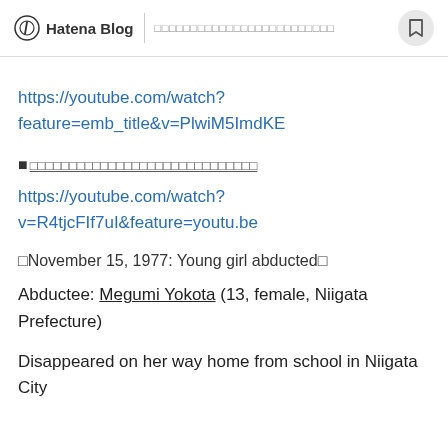Hatena Blog | □□□□□□□□□□□□□□□□□□□□□□□□□
https://youtube.com/watch?feature=emb_title&v=PlwiM5ImdKE
■□□□□□□□□□□□□□□□□□□□□□□□□□□□□
https://youtube.com/watch?v=R4tjcFIf7uI&feature=youtu.be
□November 15, 1977: Young girl abducted□
Abductee: Megumi Yokota (13, female, Niigata Prefecture)
Disappeared on her way home from school in Niigata City